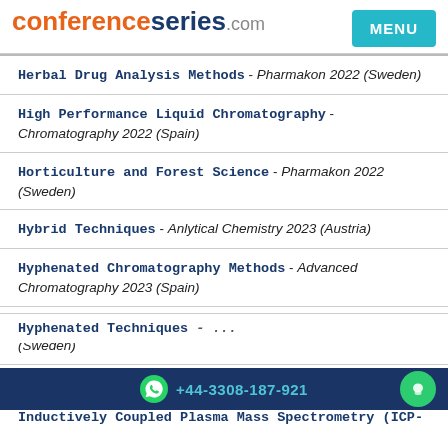conferenceseries.com MENU
Herbal Drug Analysis Methods - Pharmakon 2022 (Sweden)
High Performance Liquid Chromatography - Chromatography 2022 (Spain)
Horticulture and Forest Science - Pharmakon 2022 (Sweden)
Hybrid Techniques - Anlytical Chemistry 2023 (Austria)
Hyphenated Chromatography Methods - Advanced Chromatography 2023 (Spain)
Hyphenated Techniques - Mass Spectrometry Congress 2022 (Sweden)
Hyphenated Techniques - (partially visible)
Inductively Coupled Plasma Mass Spectrometry (ICP- (partially visible)
+44-3308-187-921